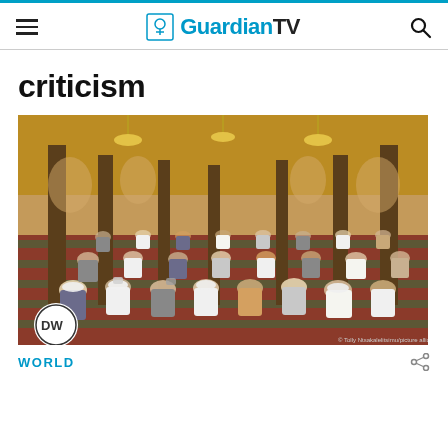GuardianTV
criticism
[Figure (photo): People praying inside a mosque, seated in rows on carpeted floor with ornate columns and chandeliers. DW logo visible in bottom left corner. Social distancing observed. Photo credit text in bottom right.]
WORLD